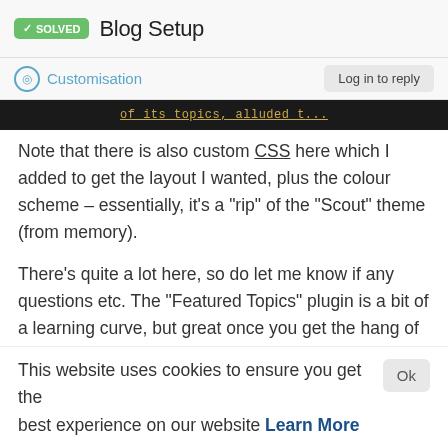✓ SOLVED  Blog Setup
Customisation   Log in to reply
[Figure (screenshot): Dark banner strip with orange/yellow text partially visible: 'of its topics, alluded...']
Note that there is also custom CSS here which I added to get the layout I wanted, plus the colour scheme - essentially, it's a “rip” of the “Scout” theme (from memory).
There’s quite a lot here, so do let me know if any questions etc. The “Featured Topics” plugin is a bit of a learning curve, but great once you get the hang of it.
This website uses cookies to ensure you get the best experience on our website Learn More